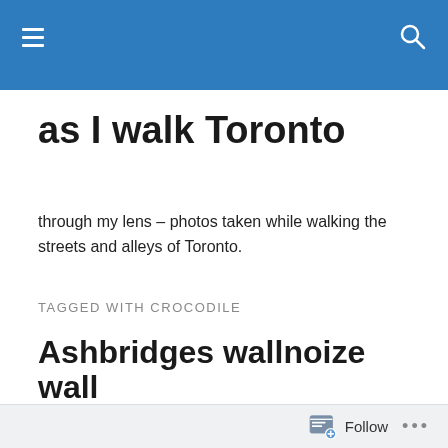as I walk Toronto — site header bar with navigation
as I walk Toronto
through my lens – photos taken while walking the streets and alleys of Toronto.
TAGGED WITH CROCODILE
Ashbridges wallnoize wall
There is a large construction project underway adjacent to the Ashbridges Bay water treatment facility between Lakeshore Blvd and Eastern Ave. The whole site is surrounded by plywood hoardings. In mid September
Follow ...